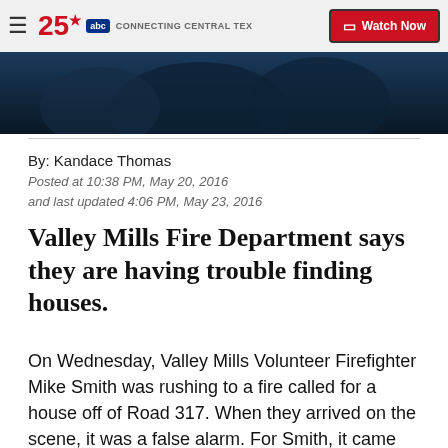25 abc CONNECTING CENTRAL TEX... Watch Now
[Figure (photo): Dark blue-toned banner image, appears to show people or firefighters in dark background]
By: Kandace Thomas
Posted at 10:38 PM, May 20, 2016
and last updated 4:06 PM, May 23, 2016
Valley Mills Fire Department says they are having trouble finding houses.
On Wednesday, Valley Mills Volunteer Firefighter Mike Smith was rushing to a fire called for a house off of Road 317. When they arrived on the scene, it was a false alarm. For Smith, it came as a